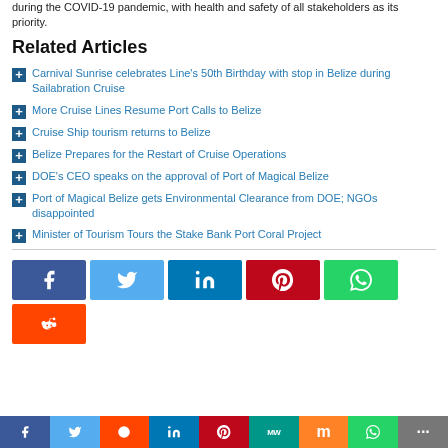during the COVID-19 pandemic, with health and safety of all stakeholders as its priority.
Related Articles
Carnival Sunrise celebrates Line's 50th Birthday with stop in Belize during Sailabration Cruise
More Cruise Lines Resume Port Calls to Belize
Cruise Ship tourism returns to Belize
Belize Prepares for the Restart of Cruise Operations
DOE's CEO speaks on the approval of Port of Magical Belize
Port of Magical Belize gets Environmental Clearance from DOE; NGOs disappointed
Minister of Tourism Tours the Stake Bank Port Coral Project
[Figure (infographic): Social media sharing buttons: Facebook (blue), Twitter (light blue), LinkedIn (blue), Pinterest (red), WhatsApp (green), Reddit (orange)]
[Figure (infographic): Bottom social sharing bar with icons: Facebook, Twitter, Reddit, LinkedIn, Pinterest, MW, Mix, WhatsApp, More]